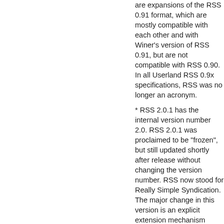are expansions of the RSS 0.91 format, which are mostly compatible with each other and with Winer's version of RSS 0.91, but are not compatible with RSS 0.90. In all Userland RSS 0.9x specifications, RSS was no longer an acronym.
* RSS 2.0.1 has the internal version number 2.0. RSS 2.0.1 was proclaimed to be "frozen", but still updated shortly after release without changing the version number. RSS now stood for Really Simple Syndication. The major change in this version is an explicit extension mechanism using XML namespaces. [19]
For the most part, later versions in each branch are backward-compatible with earlier...